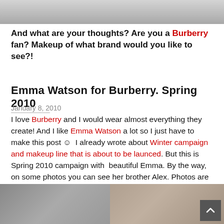[Figure (photo): Top cropped photo, partially visible image of makeup/cosmetics products on light background]
And what are your thoughts? Are you a Burberry fan? Makeup of what brand would you like to see?!
Emma Watson for Burberry. Spring 2010
January 8, 2010
I love Burberry and I would wear almost everything they create! And I like Emma Watson a lot so I just have to make this post ☺  I already wrote about Winter campaign and makeup line that is about to be launced. But this is Spring 2010 campaign with  beautiful Emma. By the way, on some photos you can see her brother Alex. Photos are by Mario Testino.
[Figure (photo): Bottom photo showing two people, a young man and a young woman (presumably Emma Watson and her brother Alex), shot by Mario Testino for Burberry Spring 2010 campaign]